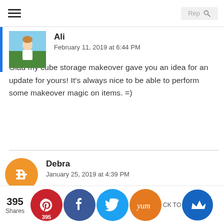Ali
February 11, 2019 at 6:44 PM

Glad my cube storage makeover gave you an idea for an update for yours! It's always nice to be able to perform some makeover magic on items. =)
Debra
January 25, 2019 at 4:39 PM

What a fantastic makeover. I love the paper you used. A very stylish way to be organized.
395 Shares